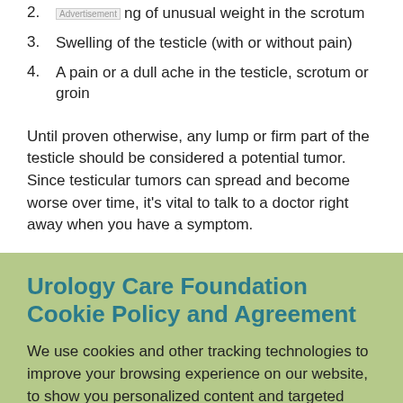2. Advertising of unusual weight in the scrotum
3. Swelling of the testicle (with or without pain)
4. A pain or a dull ache in the testicle, scrotum or groin
Until proven otherwise, any lump or firm part of the testicle should be considered a potential tumor. Since testicular tumors can spread and become worse over time, it's vital to talk to a doctor right away when you have a symptom.
Urology Care Foundation Cookie Policy and Agreement
We use cookies and other tracking technologies to improve your browsing experience on our website, to show you personalized content and targeted ads, to